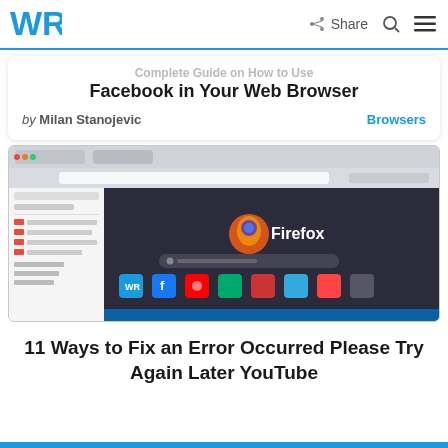WR  Share  [search]  [menu]
Complete Guide on How to Use Facebook in Your Web Browser
by Milan Stanojevic   Browsers
[Figure (screenshot): Screenshot of Firefox browser showing the Firefox new tab page with bookmarks sidebar on the left, the Firefox logo and search bar in the center, and shortcut icons including WR, Facebook, YouTube, and others at the bottom. Windows 11 taskbar visible at the bottom.]
11 Ways to Fix an Error Occurred Please Try Again Later YouTube